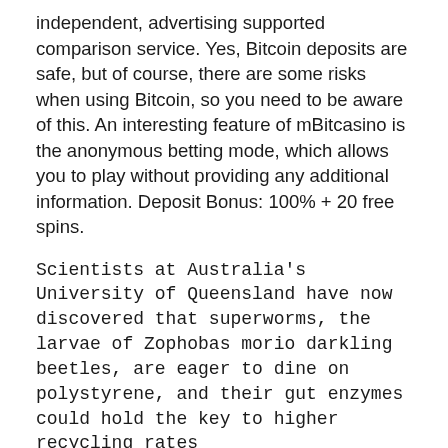independent, advertising supported comparison service. Yes, Bitcoin deposits are safe, but of course, there are some risks when using Bitcoin, so you need to be aware of this. An interesting feature of mBitcasino is the anonymous betting mode, which allows you to play without providing any additional information. Deposit Bonus: 100% + 20 free spins.
Scientists at Australia's University of Queensland have now discovered that superworms, the larvae of Zophobas morio darkling beetles, are eager to dine on polystyrene, and their gut enzymes could hold the key to higher recycling rates
If a casino hosts Bitcoin games, it means that it allows you to deposit and/or withdraw using Bitcoin, and possibly, other cryptocurrencies. As a tremendous and final surprise, the final chest available at the highest